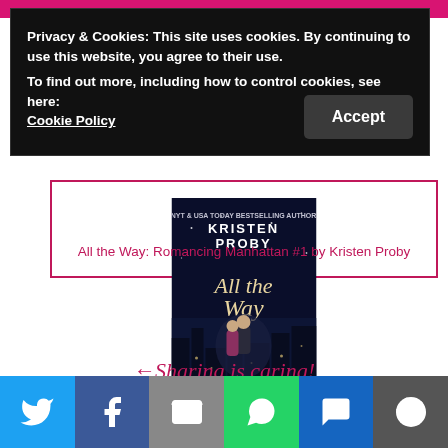Privacy & Cookies: This site uses cookies. By continuing to use this website, you agree to their use.
To find out more, including how to control cookies, see here:
Cookie Policy
[Figure (illustration): Book cover for 'All the Way' by Kristen Proby – dark romantic cover showing a couple against a night city skyline]
All the Way: Romancing Manhattan #1 by Kristen Proby
Sharing is caring!